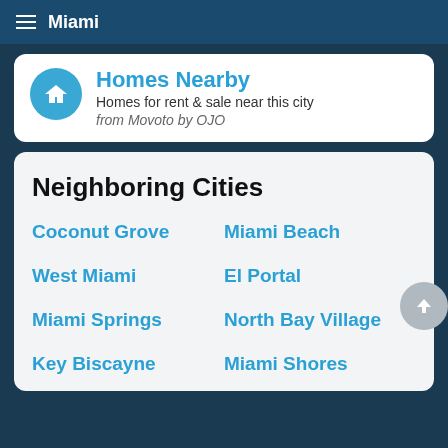Miami
Homes Nearby
Homes for rent & sale near this city
from Movoto by OJO
Neighboring Cities
Coconut Grove
Miami Beach
West Miami
El Portal
Miami Springs
North Bay Village
Key Biscayne
Miami Shores